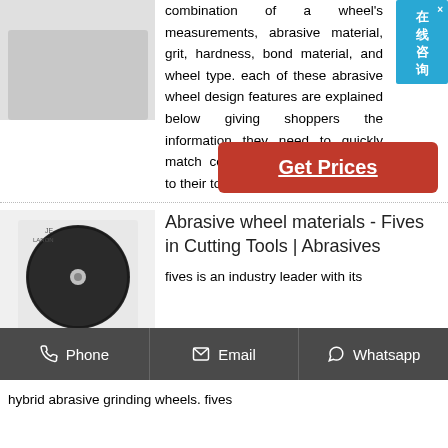[Figure (photo): Partial view of a product image at the top left, light gray background]
combination of a wheel's measurements, abrasive material, grit, hardness, bond material, and wheel type. each of these abrasive wheel design features are explained below giving shoppers the information they need to quickly match compatible abrasive wheels to their tools and ...
[Figure (other): Online chat widget with Chinese text 在线咨询 (online consultation) with a close X button, blue background]
Get Prices
[Figure (photo): Dark circular abrasive grinding wheel on light background, with LARON brand logo]
Abrasive wheel materials - Fives in Cutting Tools | Abrasives
fives is an industry leader with its
Phone   Email   Whatsapp
hybrid abrasive grinding wheels. fives